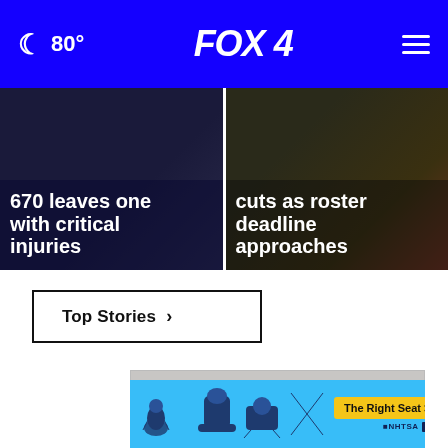FOX 4 | 80°
670 leaves one with critical injuries
cuts as roster deadline approaches
Top Stories ›
[Figure (photo): MRI / CT scanner machine in a room with ad overlay text: IF YOU SMOKED, GET SCANNED]
[Figure (infographic): NHTSA car seat safety ad banner with child seat icons and 'The Right Seat >' button]